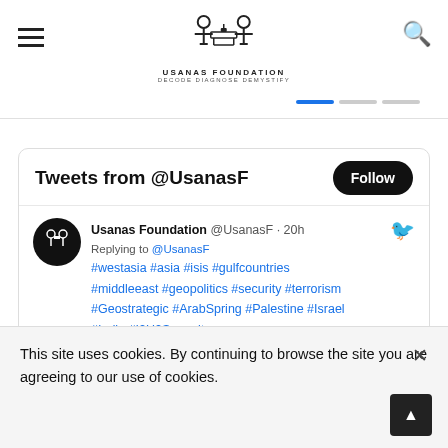USANAS FOUNDATION — DECODE DIAGNOSE DEMYSTIFY
[Figure (screenshot): Twitter/X widget showing 'Tweets from @UsanasF' with a Follow button and a tweet from Usanas Foundation @UsanasF 20h replying to @UsanasF with hashtags #westasia #asia #isis #gulfcountries #middleeast #geopolitics #security #terrorism #Geostrategic #ArabSpring #Palestine #Israel #India #I2U2Summit #Diplomacy]
This site uses cookies. By continuing to browse the site you are agreeing to our use of cookies.